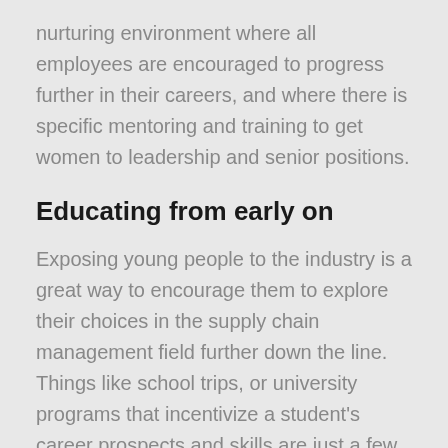nurturing environment where all employees are encouraged to progress further in their careers, and where there is specific mentoring and training to get women to leadership and senior positions.
Educating from early on
Exposing young people to the industry is a great way to encourage them to explore their choices in the supply chain management field further down the line. Things like school trips, or university programs that incentivize a student's career prospects and skills are just a few examples of ways to educate young people from an early stage. This applies more specifically to women, who have historically taken on professional roles more geared